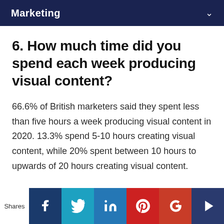Marketing
6. How much time did you spend each week producing visual content?
66.6% of British marketers said they spent less than five hours a week producing visual content in 2020. 13.3% spend 5-10 hours creating visual content, while 20% spent between 10 hours to upwards of 20 hours creating visual content.
Shares | Facebook | Twitter | LinkedIn | Pinterest | Google+ | [share icon]